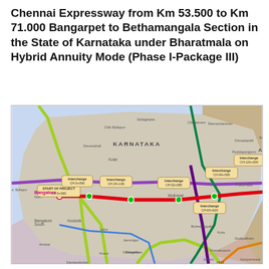Chennai Expressway from Km 53.500 to Km 71.000 Bangarpet to Bethamangala Section in the State of Karnataka under Bharatmala on Hybrid Annuity Mode (Phase I-Package III)
[Figure (map): Road map showing the Karnataka section of the Chennai Expressway from Bangalore to Bangarpet and beyond, highlighting interchanges at CH:0+090, CH:24+136, CH:52+085, CH:60+620, CH:94+095, CH:126+300, with the project corridor marked in red. Various cities including Bangalore, Hosur, Kolar, Mulbagal, and Polonnaur are shown. Other roads shown in yellow-green, purple, dark green, blue, and orange colors.]